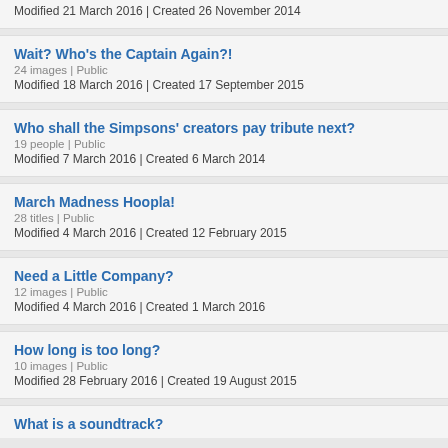Modified 21 March 2016 | Created 26 November 2014
Wait? Who's the Captain Again?!
24 images | Public
Modified 18 March 2016 | Created 17 September 2015
Who shall the Simpsons' creators pay tribute next?
19 people | Public
Modified 7 March 2016 | Created 6 March 2014
March Madness Hoopla!
28 titles | Public
Modified 4 March 2016 | Created 12 February 2015
Need a Little Company?
12 images | Public
Modified 4 March 2016 | Created 1 March 2016
How long is too long?
10 images | Public
Modified 28 February 2016 | Created 19 August 2015
What is a soundtrack?